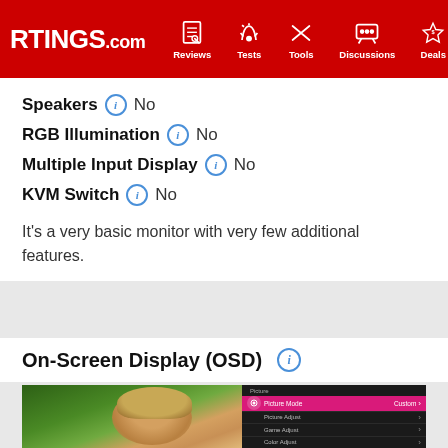RTINGS.com | Reviews | Tests | Tools | Discussions | Deals
Speakers  No
RGB Illumination  No
Multiple Input Display  No
KVM Switch  No
It's a very basic monitor with very few additional features.
On-Screen Display (OSD)
[Figure (screenshot): On-Screen Display (OSD) screenshot showing monitor menu with options: Picture, Picture Mode (Custom), Picture Adjust, Game Adjust, Color Adjust, PictureAssist. A portrait photo of a person is visible on the left side of the monitor screen.]